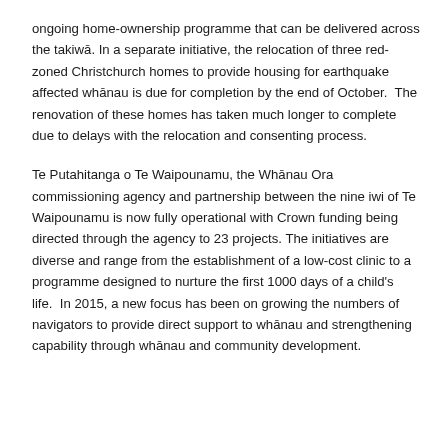ongoing home-ownership programme that can be delivered across the takiwā. In a separate initiative, the relocation of three red-zoned Christchurch homes to provide housing for earthquake affected whānau is due for completion by the end of October.  The renovation of these homes has taken much longer to complete due to delays with the relocation and consenting process.
Te Putahitanga o Te Waipounamu, the Whānau Ora commissioning agency and partnership between the nine iwi of Te Waipounamu is now fully operational with Crown funding being directed through the agency to 23 projects. The initiatives are diverse and range from the establishment of a low-cost clinic to a programme designed to nurture the first 1000 days of a child's life.  In 2015, a new focus has been on growing the numbers of navigators to provide direct support to whānau and strengthening capability through whānau and community development.